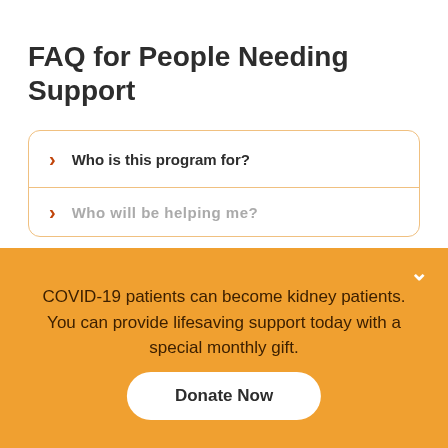FAQ for People Needing Support
Who is this program for?
Who will be helping me?
COVID-19 patients can become kidney patients. You can provide lifesaving support today with a special monthly gift.
Donate Now